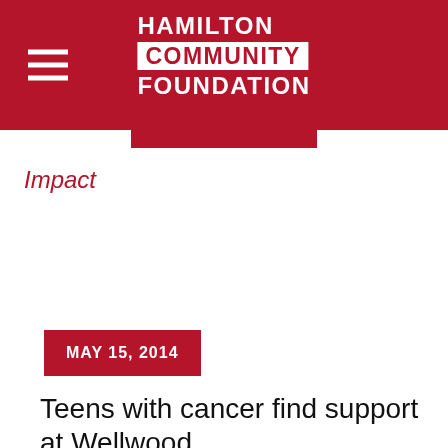Hamilton Community Foundation
Impact
MAY 15, 2014
Teens with cancer find support at Wellwood